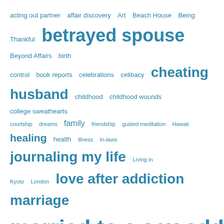[Figure (infographic): Tag/word cloud with terms related to a blog about betrayal, sex addiction, marriage, and healing. Terms vary in font size indicating frequency/prominence. All terms are in teal/blue color on white background. Largest terms: 'married to a sex addict', 'survival after betrayal', 'betrayed spouse', 'cheating husband', 'journaling my life', 'love after addiction', 'sex addict recovery'.]